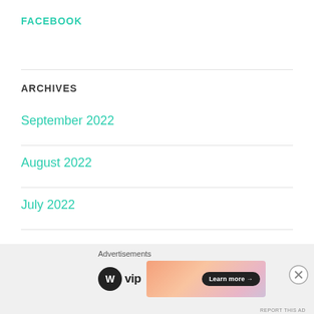FACEBOOK
ARCHIVES
September 2022
August 2022
July 2022
[Figure (other): Advertisement bar with WordPress VIP logo and a Learn more button on a gradient orange-pink banner. Advertisements label at top. Close (X) button on right.]